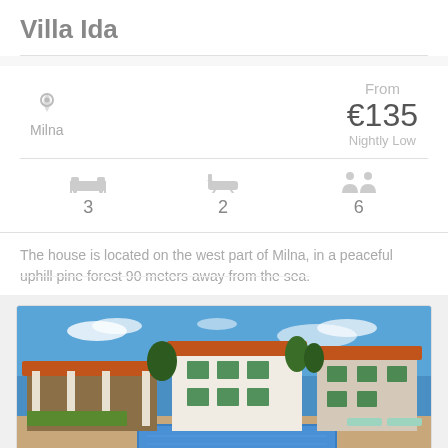Villa Ida
Milna
From €135 Nightly Low
3  2  6
The house is located on the west part of Milna, in a peaceful uphill pine forest 90 meters away from the sea.
[Figure (photo): Exterior photo of Villa Ida showing a Mediterranean-style villa with a swimming pool, outdoor covered dining area with columns, and two white buildings with green shutters and terracotta roofs, surrounded by trees under a blue sky.]